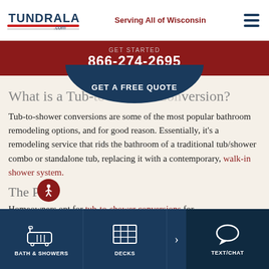TUNDRALAND .com — Serving All of Wisconsin
GET STARTED
866-274-2695
GET A FREE QUOTE
What is a Tub-to-Shower Conversion?
Tub-to-shower conversions are some of the most popular bathroom remodeling options, and for good reason. Essentially, it's a remodeling service that rids the bathroom of a traditional tub/shower combo or standalone tub, replacing it with a contemporary, walk-in shower system.
The Pros
Homeowners opt for tub-to-shower conversions for
BATH & SHOWERS    DECKS    TEXT/CHAT